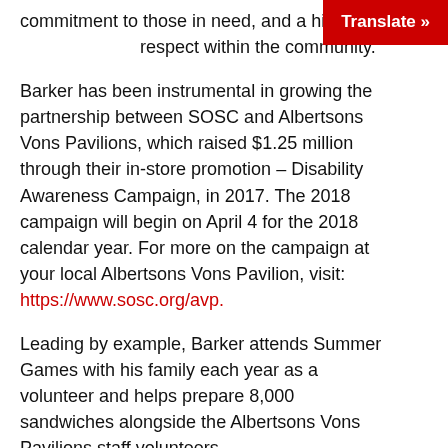commitment to those in need, and a high level of respect within the community.
Barker has been instrumental in growing the partnership between SOSC and Albertsons Vons Pavilions, which raised $1.25 million through their in-store promotion – Disability Awareness Campaign, in 2017. The 2018 campaign will begin on April 4 for the 2018 calendar year. For more on the campaign at your local Albertsons Vons Pavilion, visit: https://www.sosc.org/avp.
Leading by example, Barker attends Summer Games with his family each year as a volunteer and helps prepare 8,000 sandwiches alongside the Albertsons Vons Pavilions staff volunteers.
"He's been a tremendous advocate, inspiring many others to support our athletes by sharing his personal testimonials, in